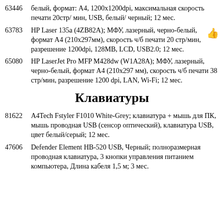63446 белый, формат: А4, 1200x1200dpi, максимальная скорость печати 20стр/ мин, USB, белый/ черный; 12 мес.
63783 HP Laser 135a (4ZB82A); МФУ, лазерный, черно-белый, формат А4 (210x297мм), скорость ч/б печати 20 стр/мин, разрешение 1200dpi, 128MB, LCD, USB2.0; 12 мес.
65080 HP LaserJet Pro MFP M428dw (W1A28A); МФУ, лазерный, черно-белый, формат А4 (210x297 мм), скорость ч/б печати 38 стр/мин, разрешение 1200 dpi, LAN, Wi-Fi; 12 мес.
Клавиатуры
81622 A4Tech Fstyler F1010 White-Grey; клавиатура + мышь для ПК, мышь проводная USB (сенсор оптический), клавиатура USB, цвет белый/серый; 12 мес.
47606 Defender Element HB-520 USB, Черный; полноразмерная проводная клавиатура, 3 кнопки управления питанием компьютера, Длина кабеля 1,5 м; 3 мес.